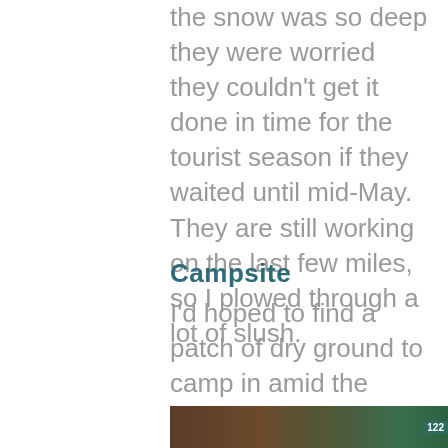the snow was so deep they were worried they couldn't get it done in time for the tourist season if they waited until mid-May. They are still working on the last few miles, so I plowed through a lot of slush.
Campsite
I'd hoped to find a patch of dry ground to camp in amid the massive snow, much as I had done on Mt. Humphreys. But the ground on both sides of the road was very hilly and 99% snow.
[Figure (photo): Partial view of a road sign or trail marker, brown and green tones visible at the bottom of the page.]